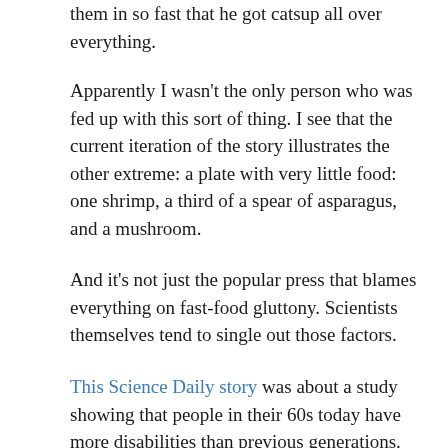them in so fast that he got catsup all over everything.
Apparently I wasn't the only person who was fed up with this sort of thing. I see that the current iteration of the story illustrates the other extreme: a plate with very little food: one shrimp, a third of a spear of asparagus, and a mushroom.
And it's not just the popular press that blames everything on fast-food gluttony. Scientists themselves tend to single out those factors.
This Science Daily story was about a study showing that people in their 60s today have more disabilities than previous generations. What do the researchers blame this situation on? Immigrants and fat people, of course.
They say that "disabilities may be linked with the changing racial and ethnic makeup of the group that